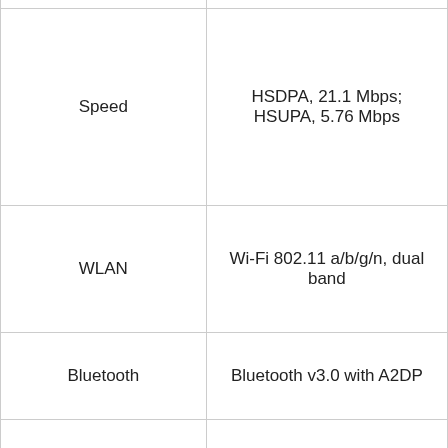| Feature | Value |
| --- | --- |
| Speed | HSDPA, 21.1 Mbps; HSUPA, 5.76 Mbps |
| WLAN | Wi-Fi 802.11 a/b/g/n, dual band |
| Bluetooth | Bluetooth v3.0 with A2DP |
| USB | microUSB v2.0 |